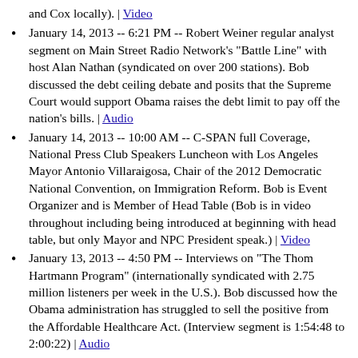and Cox locally). | Video
January 14, 2013 -- 6:21 PM -- Robert Weiner regular analyst segment on Main Street Radio Network's "Battle Line" with host Alan Nathan (syndicated on over 200 stations). Bob discussed the debt ceiling debate and posits that the Supreme Court would support Obama raises the debt limit to pay off the nation's bills. | Audio
January 14, 2013 -- 10:00 AM -- C-SPAN full Coverage, National Press Club Speakers Luncheon with Los Angeles Mayor Antonio Villaraigosa, Chair of the 2012 Democratic National Convention, on Immigration Reform. Bob is Event Organizer and is Member of Head Table (Bob is in video throughout including being introduced at beginning with head table, but only Mayor and NPC President speak.) | Video
January 13, 2013 -- 4:50 PM -- Interviews on "The Thom Hartmann Program" (internationally syndicated with 2.75 million listeners per week in the U.S.). Bob discussed how the Obama administration has struggled to sell the positive from the Affordable Healthcare Act. (Interview segment is 1:54:48 to 2:00:22) | Audio
January 13, 2013 -- 4:25 PM -- Interviewed on "The Earl Ingram Show" 1290 AM WMCS Milwaukee
January 13, 2013 -- 3:50 PM -- Interviewed on "A Touch of Grey" with host Carole Marks (Syndicated on 50 stations nationwide).